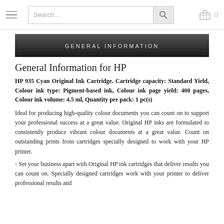Search... [search icon] [cart icon] 0
[Figure (screenshot): Dark banner with text GENERAL INFORMATION in light grey uppercase spaced letters]
General Information for HP
HP 935 Cyan Original Ink Cartridge. Cartridge capacity: Standard Yield, Colour ink type: Pigment-based ink, Colour ink page yield: 400 pages, Colour ink volume: 4.5 ml, Quantity per pack: 1 pc(s)
Ideal for producing high-quality colour documents you can count on to support your professional success at a great value. Original HP inks are formulated to consistently produce vibrant colour documents at a great value. Count on outstanding prints from cartridges specially designed to work with your HP printer.
- Set your business apart with Original HP ink cartridges that deliver results you can count on. Specially designed cartridges work with your printer to deliver professional results and